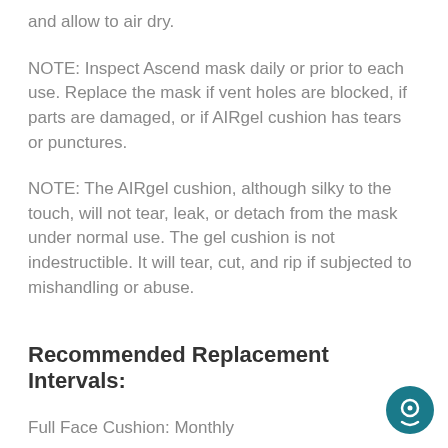and allow to air dry.
NOTE: Inspect Ascend mask daily or prior to each use. Replace the mask if vent holes are blocked, if parts are damaged, or if AIRgel cushion has tears or punctures.
NOTE: The AIRgel cushion, although silky to the touch, will not tear, leak, or detach from the mask under normal use. The gel cushion is not indestructible. It will tear, cut, and rip if subjected to mishandling or abuse.
Recommended Replacement Intervals:
Full Face Cushion: Monthly